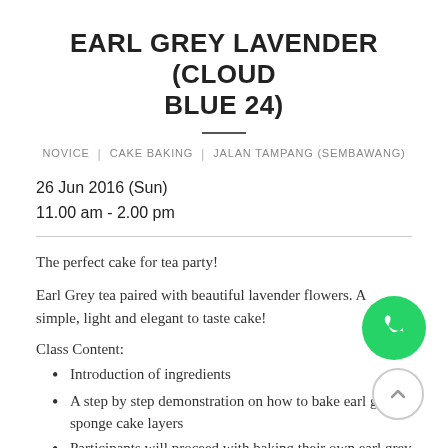EARL GREY LAVENDER (CLOUD BLUE 24)
NOVICE | CAKE BAKING | JALAN TAMPANG (SEMBAWANG)
26 Jun 2016 (Sun)
11.00 am - 2.00 pm
The perfect cake for tea party!
Earl Grey tea paired with beautiful lavender flowers. A simple, light and elegant to taste cake!
Class Content:
Introduction of ingredients
A step by step demonstration on how to bake earl grey sponge cake layers
Participants will proceed with baking their own earl grey